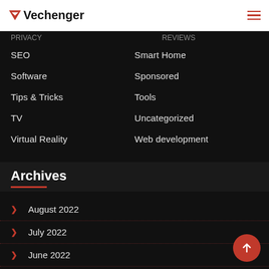Vechenger
SEO
Smart Home
Software
Sponsored
Tips & Tricks
Tools
TV
Uncategorized
Virtual Reality
Web development
Archives
August 2022
July 2022
June 2022
May 2022